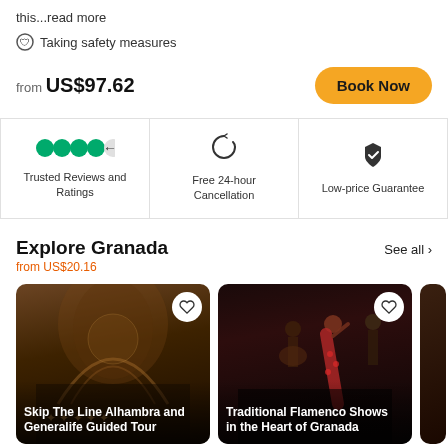this...read more
🛡 Taking safety measures
from US$97.62
Book Now
Trusted Reviews and Ratings
Free 24-hour Cancellation
Low-price Guarantee
Explore Granada
from US$20.16
See all >
[Figure (photo): Photo card of Skip The Line Alhambra and Generalife Guided Tour showing ornate Moorish architecture interior]
Skip The Line Alhambra and Generalife Guided Tour
[Figure (photo): Photo card of Traditional Flamenco Shows in the Heart of Granada showing flamenco dancers and guitarist on stage]
Traditional Flamenco Shows in the Heart of Granada